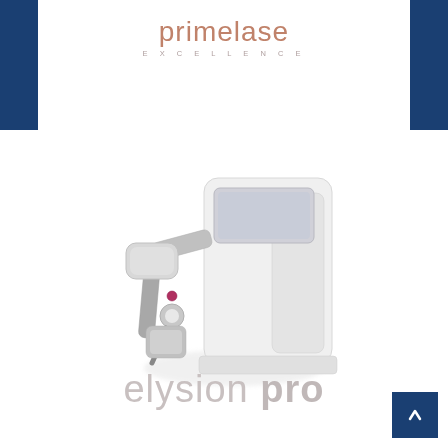[Figure (logo): primelase EXCELLENCE logo in rose/copper color with 'EXCELLENCE' text in spaced small caps below]
[Figure (photo): White laser hair removal medical device (Elysion Pro) with handpiece attached, shown at slight angle on white background]
elysion pro